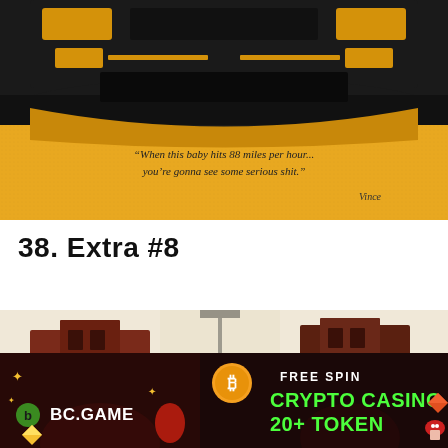[Figure (illustration): Minimalist illustration of the rear of a DeLorean car from Back to the Future, black and yellow/gold color scheme, with the quote: 'When this baby hits 88 miles per hour... you're gonna see some serious shit.' and an artist signature.]
38. Extra #8
[Figure (photo): Partial view of a reddish-brown building or structure, cut off at bottom by advertisement banner.]
[Figure (infographic): BC.GAME advertisement banner. FREE SPIN. CRYPTO CASINO 20+ TOKEN. Dark red/black background with decorative gold stars, bitcoin coin, gem icons and cartoon characters.]